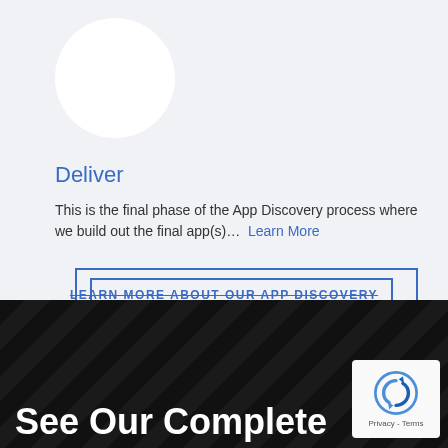[Figure (illustration): White circle on light gray background, representing an image placeholder]
Deliver
This is the final phase of the App Discovery process where we build out the final app(s)…  Learn More
LEARN MORE ABOUT OUR APP DISCOVERY APPROACH
[Figure (illustration): Dark section with chevron/zigzag pattern background]
See Our Complete
[Figure (logo): reCAPTCHA badge with Privacy - Terms text]